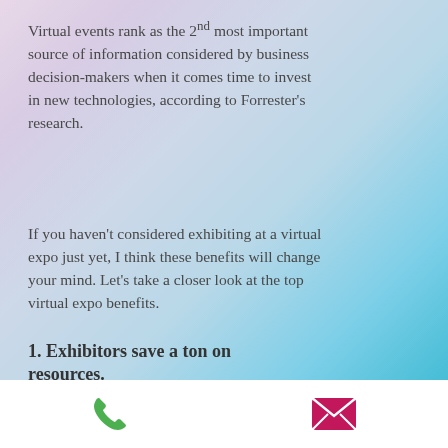Virtual events rank as the 2nd most important source of information considered by business decision-makers when it comes time to invest in new technologies, according to Forrester's research.
If you haven't considered exhibiting at a virtual expo just yet, I think these benefits will change your mind. Let's take a closer look at the top virtual expo benefits.
1. Exhibitors save a ton on resources.
You guessed it... more money in your pocket!
[phone icon] [email icon]